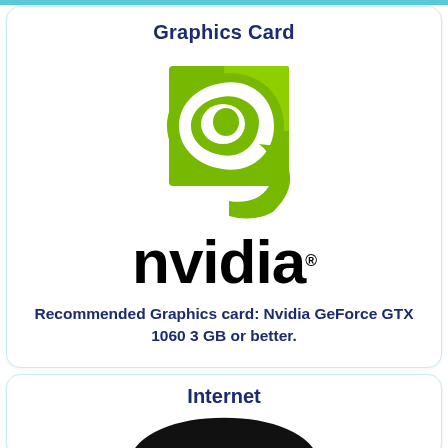Graphics Card
[Figure (logo): NVIDIA logo with green eye/swirl emblem above the NVIDIA wordmark in black with registered trademark symbol]
Recommended Graphics card: Nvidia GeForce GTX 1060 3 GB or better.
Internet
[Figure (illustration): WiFi symbol — three concentric arcs above a dot, in black]